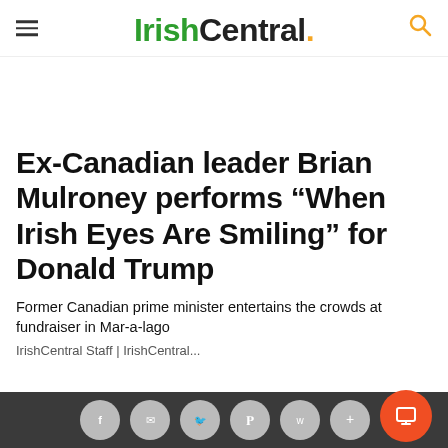IrishCentral.
Ex-Canadian leader Brian Mulroney performs “When Irish Eyes Are Smiling” for Donald Trump
Former Canadian prime minister entertains the crowds at fundraiser in Mar-a-lago
IrishCentral Staff | IrishCentral...